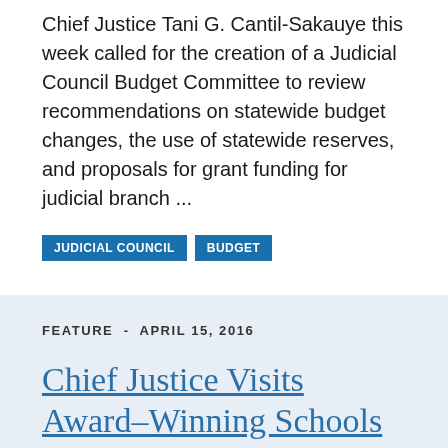Chief Justice Tani G. Cantil-Sakauye this week called for the creation of a Judicial Council Budget Committee to review recommendations on statewide budget changes, the use of statewide reserves, and proposals for grant funding for judicial branch ...
JUDICIAL COUNCIL
BUDGET
FEATURE - APRIL 15, 2016
Chief Justice Visits Award–Winning Schools